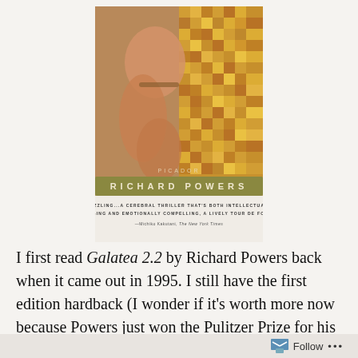[Figure (illustration): Book cover of Galatea 2.2 by Richard Powers, published by Picador. Features an artistic image with human figures and a mosaic/pixelated golden pattern. Author name RICHARD POWERS shown in large spaced letters on an olive/khaki banner. Quote: 'DAZZLING...A CEREBRAL THRILLER THAT'S BOTH INTELLECTUALLY ENGAGING AND EMOTIONALLY COMPELLING, A LIVELY TOUR DE FORCE.' —Michiko Kakutani, The New York Times]
I first read Galatea 2.2 by Richard Powers back when it came out in 1995. I still have the first edition hardback (I wonder if it's worth more now because Powers just won the Pulitzer Prize for his latest novel, The Overstory). I've been wishing for decades